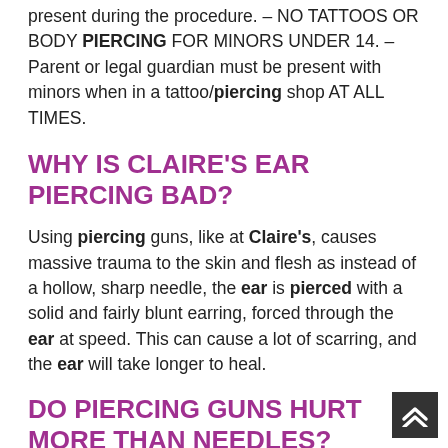present during the procedure. – NO TATTOOS OR BODY PIERCING FOR MINORS UNDER 14. – Parent or legal guardian must be present with minors when in a tattoo/piercing shop AT ALL TIMES.
WHY IS CLAIRE'S EAR PIERCING BAD?
Using piercing guns, like at Claire's, causes massive trauma to the skin and flesh as instead of a hollow, sharp needle, the ear is pierced with a solid and fairly blunt earring, forced through the ear at speed. This can cause a lot of scarring, and the ear will take longer to heal.
DO PIERCING GUNS HURT MORE THAN NEEDLES?